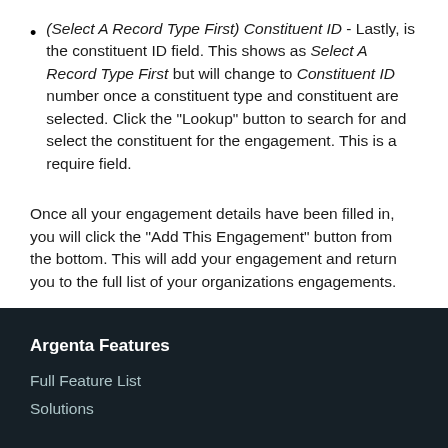(Select A Record Type First) Constituent ID - Lastly, is the constituent ID field. This shows as Select A Record Type First but will change to Constituent ID number once a constituent type and constituent are selected. Click the "Lookup" button to search for and select the constituent for the engagement. This is a require field.
Once all your engagement details have been filled in, you will click the "Add This Engagement" button from the bottom. This will add your engagement and return you to the full list of your organizations engagements.
Argenta Features
Full Feature List
Solutions